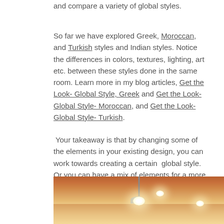and compare a variety of global styles.
So far we have explored Greek, Moroccan, and Turkish styles and Indian styles. Notice the differences in colors, textures, lighting, art etc. between these styles done in the same room. Learn more in my blog articles, Get the Look- Global Style, Greek and Get the Look- Global Style- Moroccan, and Get the Look- Global Style- Turkish.
Your takeaway is that by changing some of the elements in your existing design, you can work towards creating a certain global style. Or you can have a mix of elements for a more “Bohemian Style”. More on that to come.
[Figure (photo): Interior room photo showing ceiling with recessed lighting and a pendant lamp, orange/terracotta wall visible on the left side.]